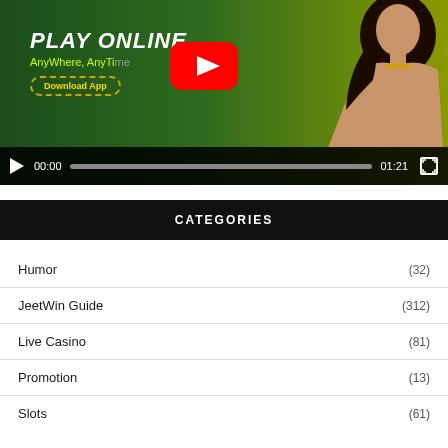[Figure (screenshot): Video player showing an online casino advertisement. Green gradient background with 'PLAY ONLINE AnyWhere, AnyTime' text, a Download App button, a YouTube play button overlay, a woman holding a casino chip, and video controls showing 00:00 / 01:21.]
CATEGORIES
Humor (32)
JeetWin Guide (312)
Live Casino (81)
Promotion (13)
Slots (61)